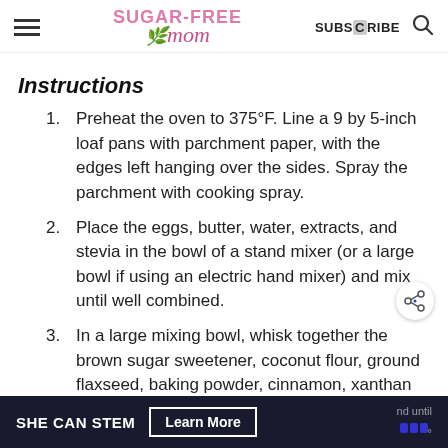Sugar-Free Mom — SUBSCRIBE
Instructions
Preheat the oven to 375°F. Line a 9 by 5-inch loaf pans with parchment paper, with the edges left hanging over the sides. Spray the parchment with cooking spray.
Place the eggs, butter, water, extracts, and stevia in the bowl of a stand mixer (or a large bowl if using an electric hand mixer) and mix until well combined.
In a large mixing bowl, whisk together the brown sugar sweetener, coconut flour, ground flaxseed, baking powder, cinnamon, xanthan gum, and salt. Pour the dry ingredient mixture
SHE CAN STEM — Learn More